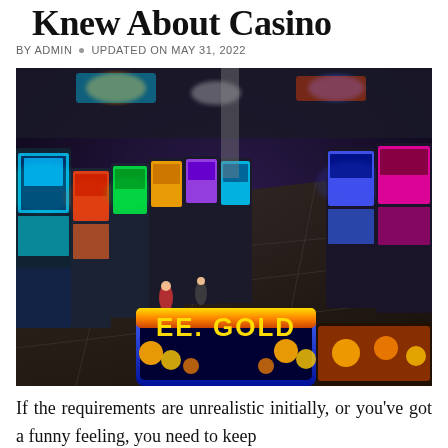Knew About Casino
BY ADMIN  •  UPDATED ON MAY 31, 2022
[Figure (photo): Aerial/overhead view of a casino floor filled with rows of slot machines with colorful screens, including a prominent 'EE GOLD' slot machine in the foreground, with a few people walking through the aisles.]
If the requirements are unrealistic initially, or you've got a funny feeling, you need to keep